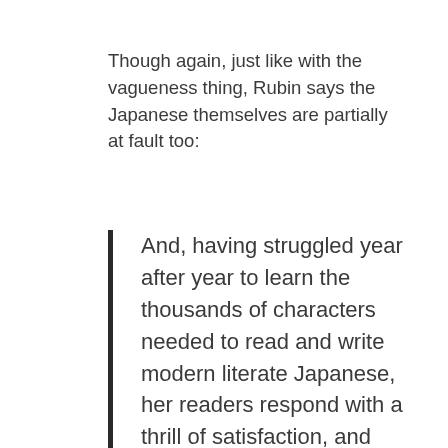Though again, just like with the vagueness thing, Rubin says the Japanese themselves are partially at fault too:
And, having struggled year after year to learn the thousands of characters needed to read and write modern literate Japanese, her readers respond with a thrill of satisfaction, and